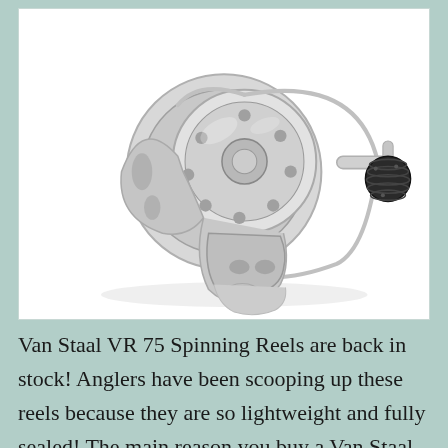[Figure (photo): A Van Staal VR 75 spinning fishing reel, silver/chrome colored with black handle knob, shown on a white background]
Van Staal VR 75 Spinning Reels are back in stock! Anglers have been scooping up these reels because they are so lightweight and fully sealed! The main reason you buy a Van Staal is because you don't have to worry about